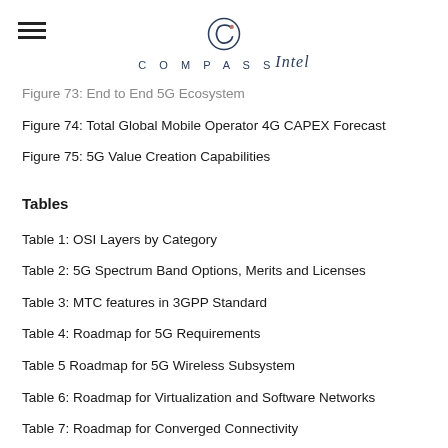COMPASS Intel
Figure 73: End to End 5G Ecosystem
Figure 74: Total Global Mobile Operator 4G CAPEX Forecast
Figure 75: 5G Value Creation Capabilities
Tables
Table 1: OSI Layers by Category
Table 2: 5G Spectrum Band Options, Merits and Licenses
Table 3: MTC features in 3GPP Standard
Table 4: Roadmap for 5G Requirements
Table 5 Roadmap for 5G Wireless Subsystem
Table 6: Roadmap for Virtualization and Software Networks
Table 7: Roadmap for Converged Connectivity
Table 8: 5G PPP 19 Projects
Table 9: 5G Only Subscription APAC vs. NA vs. Europe vs. Others